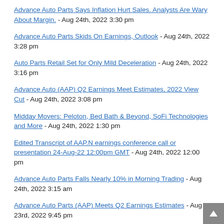Advance Auto Parts Says Inflation Hurt Sales. Analysts Are Wary About Margin. - Aug 24th, 2022 3:30 pm
Advance Auto Parts Skids On Earnings, Outlook - Aug 24th, 2022 3:28 pm
Auto Parts Retail Set for Only Mild Deceleration - Aug 24th, 2022 3:16 pm
Advance Auto (AAP) Q2 Earnings Meet Estimates, 2022 View Cut - Aug 24th, 2022 3:08 pm
Midday Movers: Peloton, Bed Bath & Beyond, SoFi Technologies and More - Aug 24th, 2022 1:30 pm
Edited Transcript of AAP.N earnings conference call or presentation 24-Aug-22 12:00pm GMT - Aug 24th, 2022 12:00 pm
Advance Auto Parts Falls Nearly 10% in Morning Trading - Aug 24th, 2022 3:15 am
Advance Auto Parts (AAP) Meets Q2 Earnings Estimates - Aug 23rd, 2022 9:45 pm
Advance Auto Parts lowers outlook for the year as DIY business hit by inflation, high fuel prices - Aug 23rd, 2022 9:05 pm
Advance Auto Parts Reports Second Quarter 2022 Results - Aug